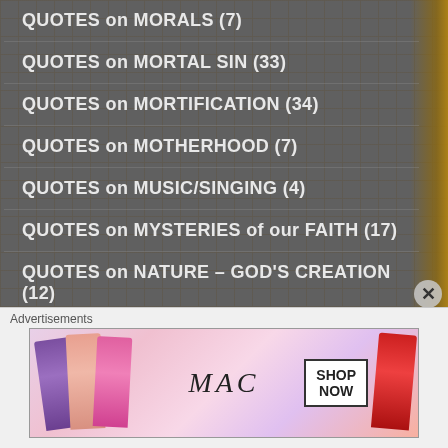QUOTES on MORALS (7)
QUOTES on MORTAL SIN (33)
QUOTES on MORTIFICATION (34)
QUOTES on MOTHERHOOD (7)
QUOTES on MUSIC/SINGING (4)
QUOTES on MYSTERIES of our FAITH (17)
QUOTES on NATURE – GOD'S CREATION (12)
QUOTES on OBEDIENCE (251)
QUOTES on PATIENCE (104)
QUOTES on PEACE (175)
QUOTES on PERSECUTION (106)
Advertisements
[Figure (photo): MAC cosmetics advertisement showing lipsticks in purple, peach, pink, and red, with the MAC logo and a SHOP NOW button]